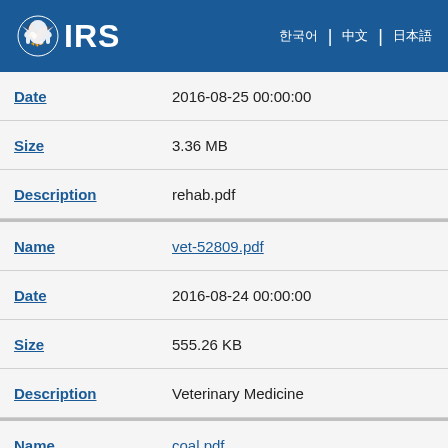IRS
| Field | Value |
| --- | --- |
| Date | 2016-08-25 00:00:00 |
| Size | 3.36 MB |
| Description | rehab.pdf |
| Name | vet-52809.pdf |
| Date | 2016-08-24 00:00:00 |
| Size | 555.26 KB |
| Description | Veterinary Medicine |
| Name | coal.pdf |
| Date | 2016-07-07 00:00:00 |
| Size | 649.44 KB |